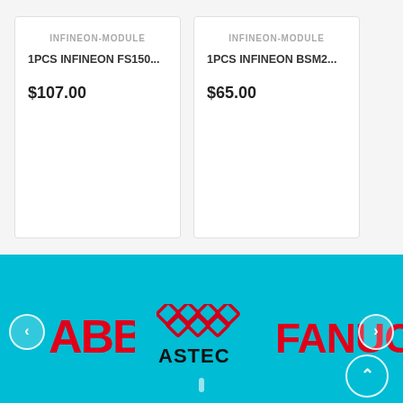INFINEON-MODULE
1PCS INFINEON FS150...
$107.00
INFINEON-MODULE
1PCS INFINEON BSM2...
$65.00
[Figure (logo): Brand logo carousel on cyan background showing ABB logo (red letters), ASTEC logo (diamond grid pattern in red above black text), and FANUC logo (red letters, partially cropped). Left and right carousel navigation arrows visible.]